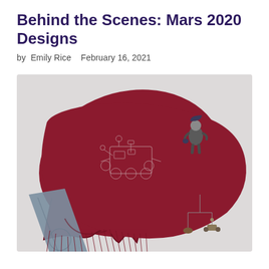Behind the Scenes: Mars 2020 Designs
by Emily Rice   February 16, 2021
[Figure (photo): A dark red/maroon fringed scarf with white line-drawing prints of the Mars 2020 rover, folded and draped, with a blue-grey strap or bag across it. A small figurine of a person in a winter coat sits on top of the scarf, and a small hanging mobile with a tiny rover model dangles in the lower right. Background is light grey/white.]